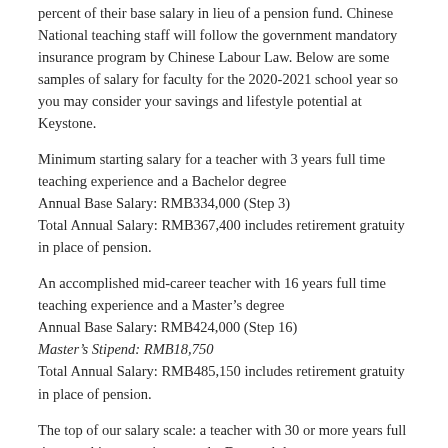percent of their base salary in lieu of a pension fund. Chinese National teaching staff will follow the government mandatory insurance program by Chinese Labour Law. Below are some samples of salary for faculty for the 2020-2021 school year so you may consider your savings and lifestyle potential at Keystone.
Minimum starting salary for a teacher with 3 years full time teaching experience and a Bachelor degree
Annual Base Salary: RMB334,000 (Step 3)
Total Annual Salary: RMB367,400 includes retirement gratuity in place of pension.
An accomplished mid-career teacher with 16 years full time teaching experience and a Master’s degree
Annual Base Salary: RMB424,000 (Step 16)
Master’s Stipend: RMB18,750
Total Annual Salary: RMB485,150 includes retirement gratuity in place of pension.
The top of our salary scale: a teacher with 30 or more years full time teaching experience, and a Doctoral degree